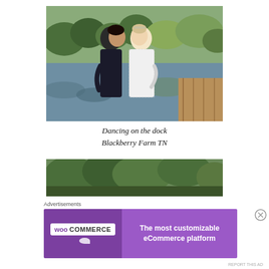[Figure (photo): A couple dancing on a wooden dock by a reflective lake surrounded by autumn trees. The man is in a dark suit and the woman is in a white lace wedding dress with an updo hairstyle.]
Dancing on the dock Blackberry Farm TN
[Figure (photo): Partial view of a wooded outdoor scene, appears to be trees and foliage.]
Advertisements
[Figure (other): WooCommerce advertisement banner: 'The most customizable eCommerce platform']